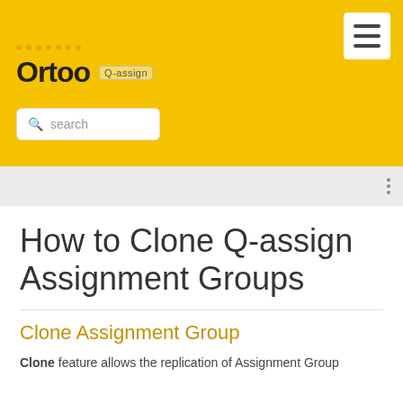Ortoo Q-assign
How to Clone Q-assign Assignment Groups
Clone Assignment Group
Clone feature allows the replication of Assignment Group